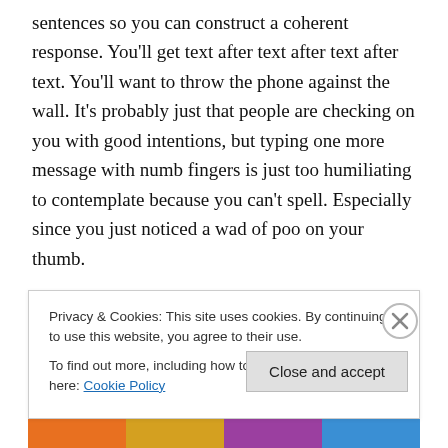sentences so you can construct a coherent response. You'll get text after text after text after text. You'll want to throw the phone against the wall. It's probably just that people are checking on you with good intentions, but typing one more message with numb fingers is just too humiliating to contemplate because you can't spell. Especially since you just noticed a wad of poo on your thumb.

You are going to scream at your kids and your partner/spouse at some point. To be fair, they're going to
Privacy & Cookies: This site uses cookies. By continuing to use this website, you agree to their use.
To find out more, including how to control cookies, see here: Cookie Policy
Close and accept